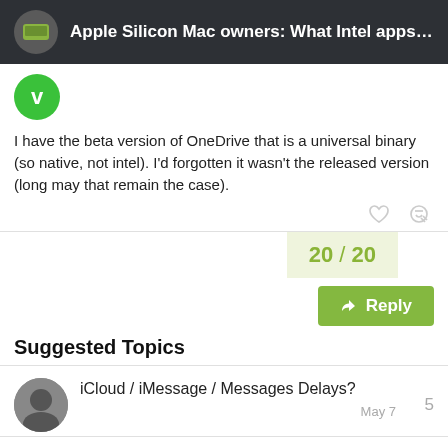Apple Silicon Mac owners: What Intel apps are y...
I have the beta version of OneDrive that is a universal binary (so native, not intel). I'd forgotten it wasn't the released version (long may that remain the case).
20 / 20
Suggested Topics
iCloud / iMessage / Messages Delays?
May 7
Merge duplicates in iOS 16